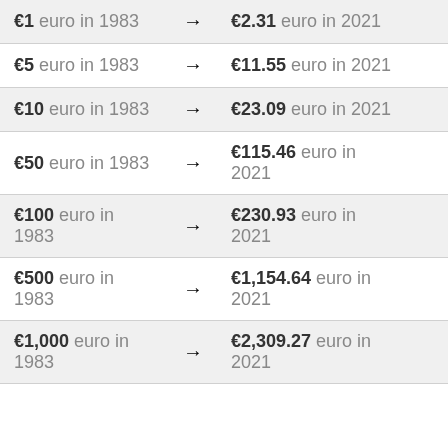| From |  | To |
| --- | --- | --- |
| €1 euro in 1983 | → | €2.31 euro in 2021 |
| €5 euro in 1983 | → | €11.55 euro in 2021 |
| €10 euro in 1983 | → | €23.09 euro in 2021 |
| €50 euro in 1983 | → | €115.46 euro in 2021 |
| €100 euro in 1983 | → | €230.93 euro in 2021 |
| €500 euro in 1983 | → | €1,154.64 euro in 2021 |
| €1,000 euro in 1983 | → | €2,309.27 euro in 2021 |